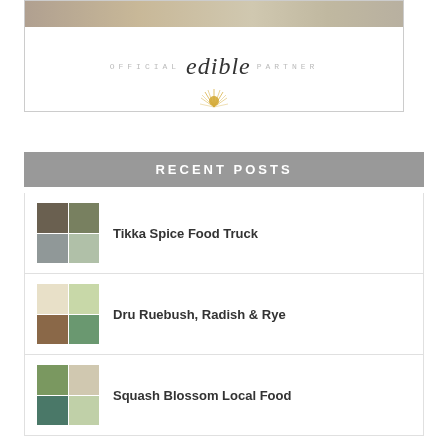[Figure (logo): Official edible Partner logo banner with sunburst graphic]
RECENT POSTS
Tikka Spice Food Truck
Dru Ruebush, Radish & Rye
Squash Blossom Local Food